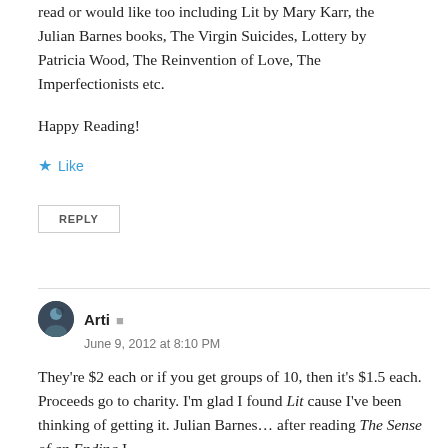read or would like too including Lit by Mary Karr, the Julian Barnes books, The Virgin Suicides, Lottery by Patricia Wood, The Reinvention of Love, The Imperfectionists etc.
Happy Reading!
Like
REPLY
Arti
June 9, 2012 at 8:10 PM
They're $2 each or if you get groups of 10, then it's $1.5 each. Proceeds go to charity. I'm glad I found Lit cause I've been thinking of getting it. Julian Barnes… after reading The Sense of an Ending I